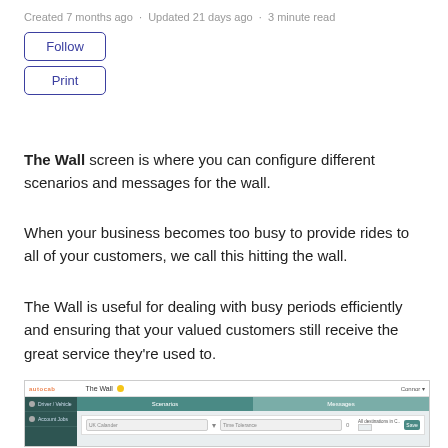Created 7 months ago · Updated 21 days ago · 3 minute read
Follow
Print
The Wall screen is where you can configure different scenarios and messages for the wall.
When your business becomes too busy to provide rides to all of your customers, we call this hitting the wall.
The Wall is useful for dealing with busy periods efficiently and ensuring that your valued customers still receive the great service they're used to.
[Figure (screenshot): Screenshot of 'The Wall' configuration screen showing Scenarios and Messages tabs with a row for setting parameters.]